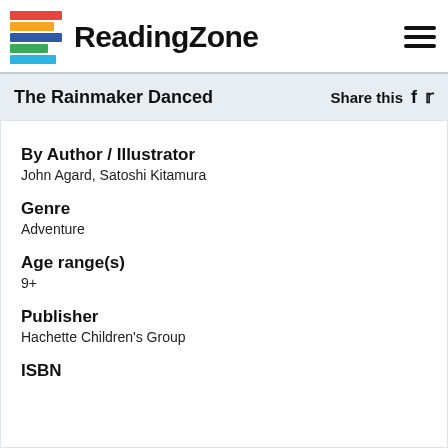ReadingZone
The Rainmaker Danced
Share this
By Author / Illustrator
John Agard, Satoshi Kitamura
Genre
Adventure
Age range(s)
9+
Publisher
Hachette Children's Group
ISBN